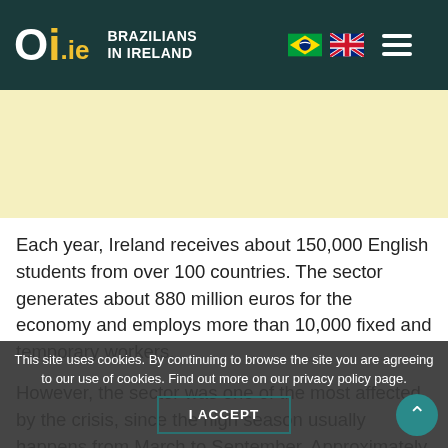Oi.ie BRAZILIANS IN IRELAND
[Figure (other): Light yellow advertisement banner area]
Each year, Ireland receives about 150,000 English students from over 100 countries. The sector generates about 880 million euros for the economy and employs more than 10,000 fixed and temporary workers.
However, the sector was one of the most affected by the crisis, since the high season usually happens from March to September. Approximately 70% of the schools' revenue occurs during this period. With the restrictions imposed by the pandemic, the trips were cancelled and many students who were already in Ireland returned home.
This site uses cookies. By continuing to browse the site you are agreeing to our use of cookies. Find out more on our privacy policy page.